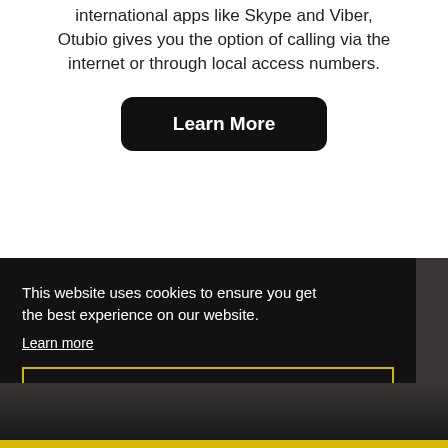international apps like Skype and Viber, Otubio gives you the option of calling via the internet or through local access numbers.
Learn More
This website uses cookies to ensure you get the best experience on our website.
Learn more
Got it!
[Figure (photo): Dark background photo partially visible at bottom right of page, showing a dark scene]